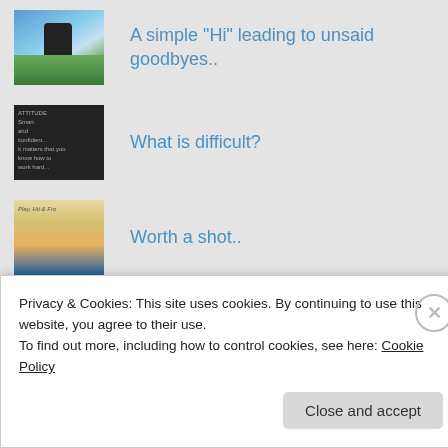A simple "Hi" leading to unsaid goodbyes..
What is difficult?
Worth a shot..
"Your Mother was right"
RECENT THOUGHTS
Privacy & Cookies: This site uses cookies. By continuing to use this website, you agree to their use.
To find out more, including how to control cookies, see here: Cookie Policy
Close and accept